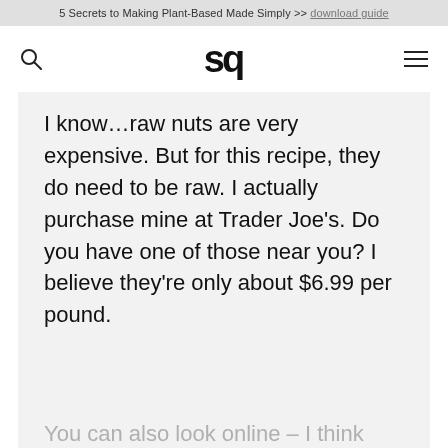5 Secrets to Making Plant-Based Made Simply >> download guide
sq
I know…raw nuts are very expensive. But for this recipe, they do need to be raw. I actually purchase mine at Trader Joe's. Do you have one of those near you? I believe they're only about $6.99 per pound.
You can also look online – I think you can usually